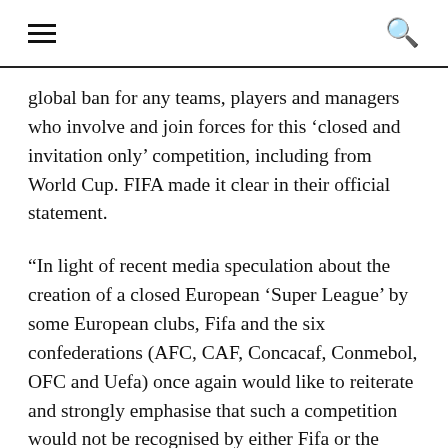[hamburger menu icon] [search icon]
global ban for any teams, players and managers who involve and join forces for this ‘closed and invitation only’ competition, including from World Cup. FIFA made it clear in their official statement.
“In light of recent media speculation about the creation of a closed European ‘Super League’ by some European clubs, Fifa and the six confederations (AFC, CAF, Concacaf, Conmebol, OFC and Uefa) once again would like to reiterate and strongly emphasise that such a competition would not be recognised by either Fifa or the respective confederation. Any club or player involved in such a